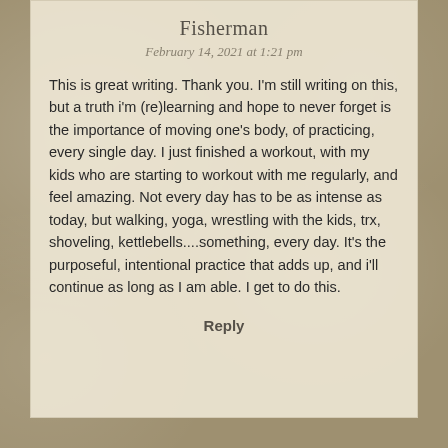Fisherman
February 14, 2021 at 1:21 pm
This is great writing. Thank you. I'm still writing on this, but a truth i'm (re)learning and hope to never forget is the importance of moving one's body, of practicing, every single day. I just finished a workout, with my kids who are starting to workout with me regularly, and feel amazing. Not every day has to be as intense as today, but walking, yoga, wrestling with the kids, trx, shoveling, kettlebells....something, every day. It's the purposeful, intentional practice that adds up, and i'll continue as long as I am able. I get to do this.
Reply